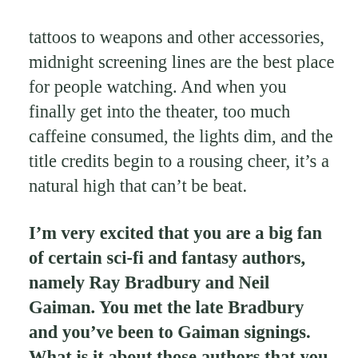tattoos to weapons and other accessories, midnight screening lines are the best place for people watching. And when you finally get into the theater, too much caffeine consumed, the lights dim, and the title credits begin to a rousing cheer, it's a natural high that can't be beat.
I'm very excited that you are a big fan of certain sci-fi and fantasy authors, namely Ray Bradbury and Neil Gaiman. You met the late Bradbury and you've been to Gaiman signings. What is it about those authors that you love so